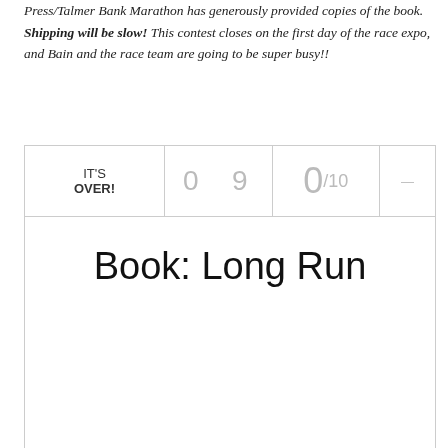Press/Talmer Bank Marathon has generously provided copies of the book. Shipping will be slow! This contest closes on the first day of the race expo, and Bain and the race team are going to be super busy!!
| IT'S OVER! | 0 9 | 0/10 |  |
| --- | --- | --- | --- |
| Book: Long Run |  |  |  |